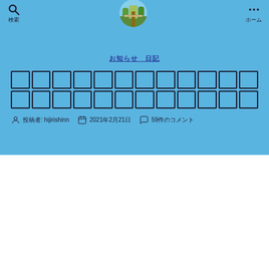検索  ホーム
[Figure (photo): Circular avatar image showing a park pathway with green trees]
お知らせ　日記
（Japanese article title rendered as bordered boxes）
投稿者: hijirishinn　2021年2月21日　59件のコメント
Can you recognize when your brain makes a mistake?
Have you ever heard of cognitive dissonance? You don't need to memorize these big words, but they